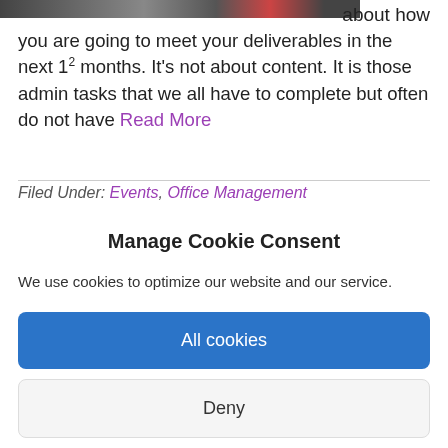[Figure (photo): Partial view of a car photograph, cropped at top]
about how you are going to meet your deliverables in the next 12 months. It's not about content. It is those admin tasks that we all have to complete but often do not have Read More
Filed Under: Events, Office Management
Manage Cookie Consent
We use cookies to optimize our website and our service.
All cookies
Deny
View preferences